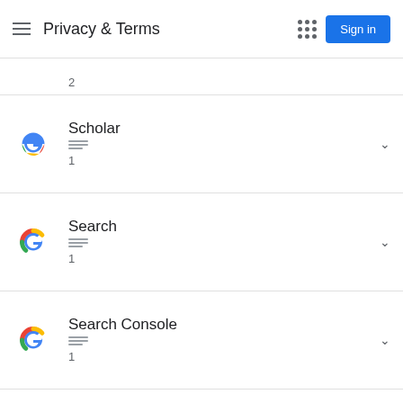Privacy & Terms
2
Scholar
1
Search
1
Search Console
1
Sheets